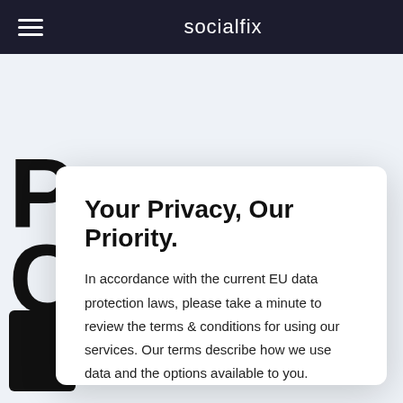socialfix
[Figure (screenshot): Partially visible background webpage with large letters 'P' and 'C' and a dark rectangle, behind a privacy consent modal dialog.]
Your Privacy, Our Priority.
In accordance with the current EU data protection laws, please take a minute to review the terms & conditions for using our services. Our terms describe how we use data and the options available to you.
Read more
Accept